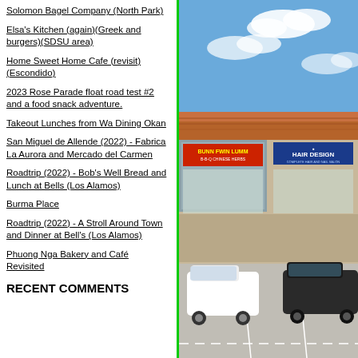Solomon Bagel Company (North Park)
Elsa's Kitchen (again)(Greek and burgers)(SDSU area)
Home Sweet Home Cafe (revisit)(Escondido)
2023 Rose Parade float road test #2 and a food snack adventure.
Takeout Lunches from Wa Dining Okan
San Miguel de Allende (2022) - Fabrica La Aurora and Mercado del Carmen
Roadtrip (2022) - Bob's Well Bread and Lunch at Bells (Los Alamos)
Burma Place
Roadtrip (2022) - A Stroll Around Town and Dinner at Bell's (Los Alamos)
Phuong Nga Bakery and Café Revisited
RECENT COMMENTS
[Figure (photo): Outdoor photo of a strip mall shopping center with a red tile roof. Signs visible include a Chinese restaurant and a Hair Design salon. White minivan and dark SUV parked in front. Blue sky with clouds.]